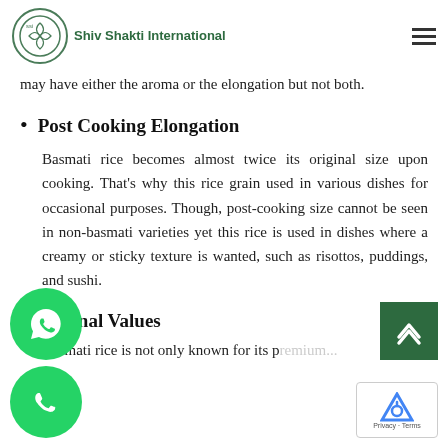Shiv Shakti International
whereas non-basmati rice has only some of the long slender rice is shaped like basmati rice and may have either the aroma or the elongation but not both.
Post Cooking Elongation
Basmati rice becomes almost twice its original size upon cooking. That’s why this rice grain used in various dishes for occasional purposes. Though, post-cooking size cannot be seen in non-basmati varieties yet this rice is used in dishes where a creamy or sticky texture is wanted, such as risottos, puddings, and sushi.
Nutritional Values
Basmati rice is not only known for its premium...